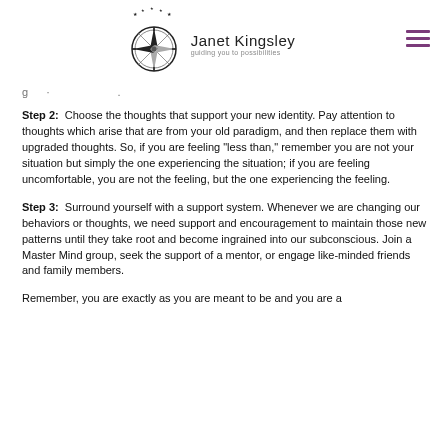[Figure (logo): Janet Kingsley compass logo with brand name and tagline 'guiding you to possibilities']
Step 2: Choose the thoughts that support your new identity. Pay attention to thoughts which arise that are from your old paradigm, and then replace them with upgraded thoughts. So, if you are feeling “less than,” remember you are not your situation but simply the one experiencing the situation; if you are feeling uncomfortable, you are not the feeling, but the one experiencing the feeling.
Step 3: Surround yourself with a support system. Whenever we are changing our behaviors or thoughts, we need support and encouragement to maintain those new patterns until they take root and become ingrained into our subconscious. Join a Master Mind group, seek the support of a mentor, or engage like-minded friends and family members.
Remember, you are exactly as you are meant to be and you are a